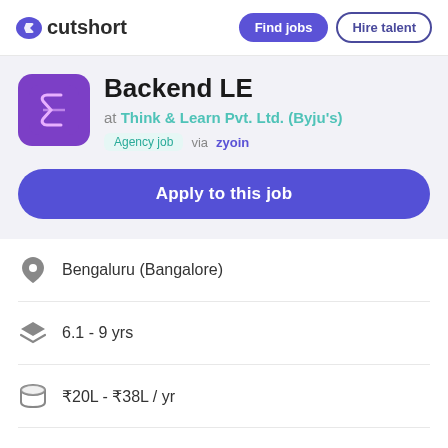cutshort | Find jobs | Hire talent
Backend LE
at Think & Learn Pvt. Ltd. (Byju's)
Agency job via zyoin
Apply to this job
Bengaluru (Bangalore)
6.1 - 9 yrs
₹20L - ₹38L / yr